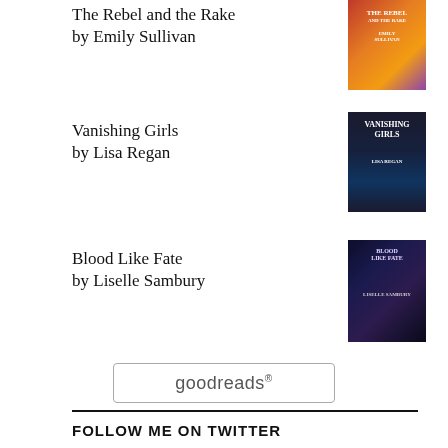The Rebel and the Rake
by Emily Sullivan
[Figure (photo): Book cover of The Rebel and the Rake by Emily Sullivan]
Vanishing Girls
by Lisa Regan
[Figure (photo): Book cover of Vanishing Girls by Lisa Regan]
Blood Like Fate
by Liselle Sambury
[Figure (photo): Book cover of Blood Like Fate by Liselle Sambury]
[Figure (logo): Goodreads logo in a rounded rectangle box]
FOLLOW ME ON TWITTER